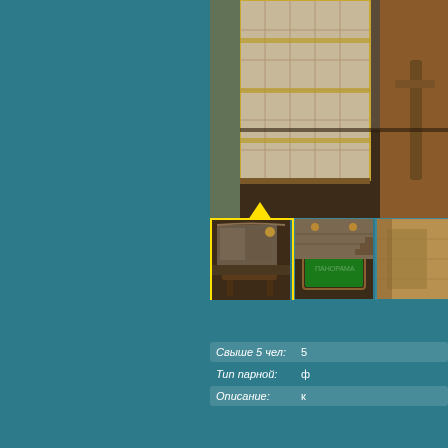[Figure (photo): Main large photo showing interior of a sauna/billiard room with decorative tiled wall partition and wooden floors, brown leather seating visible]
[Figure (photo): Thumbnail 1 (selected, yellow border): Interior view of sauna/billiard lounge with mural painting, low wooden tables and bench seating]
[Figure (photo): Thumbnail 2: Interior view showing billiard table with green felt surface, arched ceiling, warm lighting]
[Figure (photo): Thumbnail 3: Partial view of a wooden interior element, cropped]
Свыше 5 чел:  5
Тип парной:    ф
Описание:      к